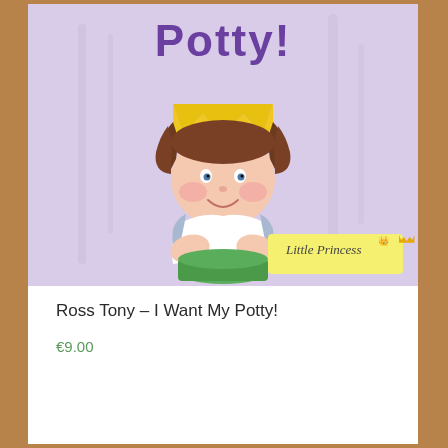[Figure (illustration): Book cover for 'I Want My Potty!' from the Little Princess series. Shows a cartoon little girl with brown hair wearing a yellow crown, sitting on a green potty with a light purple/lavender watercolor background. The word 'Potty!' appears in purple at the top. A yellow badge with 'Little Princess' and a small crown icon is in the lower right.]
Ross Tony – I Want My Potty!
€9.00